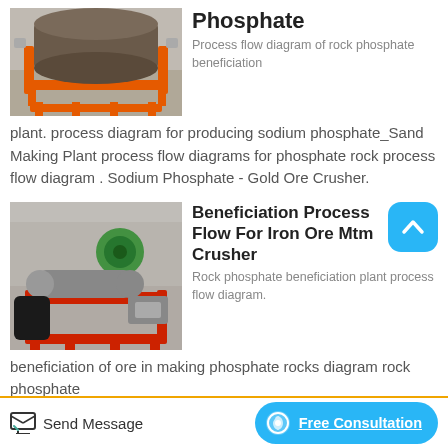[Figure (photo): Orange industrial magnetic separator machine on a stand, in a factory setting]
Phosphate
Process flow diagram of rock phosphate beneficiation plant. process diagram for producing sodium phosphate_Sand Making Plant process flow diagrams for phosphate rock process flow diagram . Sodium Phosphate - Gold Ore Crusher.
[Figure (photo): Red industrial beneficiation machine with green and black components in a factory setting]
Beneficiation Process Flow For Iron Ore Mtm Crusher
Rock phosphate beneficiation plant process flow diagram. beneficiation of ore in making phosphate rocks diagram rock phosphate
Send Message   Free Consultation